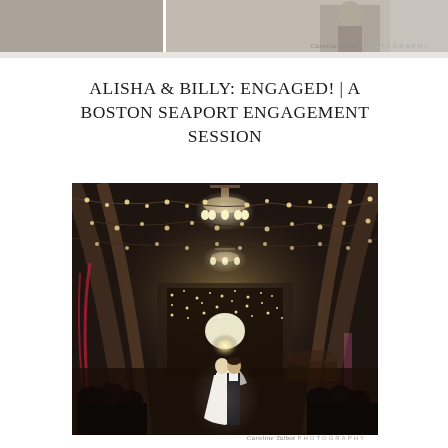[Figure (photo): Top strip of two photos showing engagement or wedding scenes, partially cropped. Left portion shows a dark indoor scene; right portion shows a couple or person in a lighter setting.]
Caroline Talbot PHOTOGRAPHY
ALISHA & BILLY: ENGAGED! | A BOSTON SEAPORT ENGAGEMENT SESSION
[Figure (photo): Interior of a rustic barn wedding venue decorated with string lights and chandeliers. A couple shares their first dance in the foreground surrounded by wedding guests, with warm amber lighting and fairy lights strung across wooden beams in the background.]
Caroline Talbot PHOTOGRAPHY